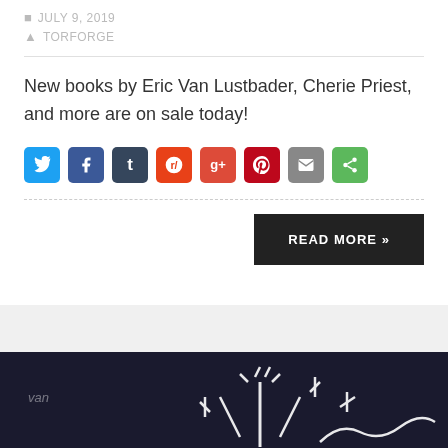JULY 9, 2019
TORFORGE
New books by Eric Van Lustbader, Cherie Priest, and more are on sale today!
[Figure (infographic): Social share buttons: Twitter, Facebook, Tumblr, Reddit, Google+, Pinterest, Email, Share]
READ MORE »
[Figure (photo): Dark background image with glowing white line art illustration at bottom of page]